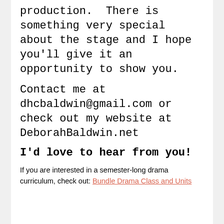production.  There is something very special about the stage and I hope you'll give it an opportunity to show you.
Contact me at dhcbaldwin@gmail.com or check out my website at DeborahBaldwin.net
I'd love to hear from you!
If you are interested in a semester-long drama curriculum, check out: Bundle Drama Class and Units